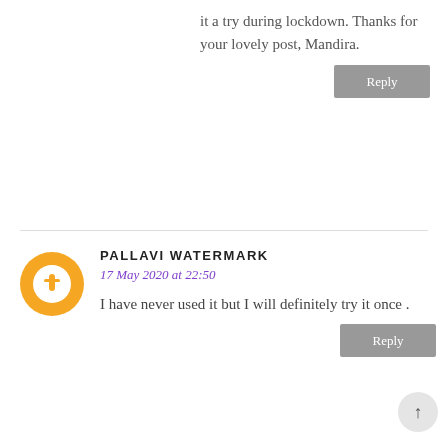it a try during lockdown. Thanks for your lovely post, Mandira.
Reply
PALLAVI WATERMARK
17 May 2020 at 22:50
I have never used it but I will definitely try it once .
Reply